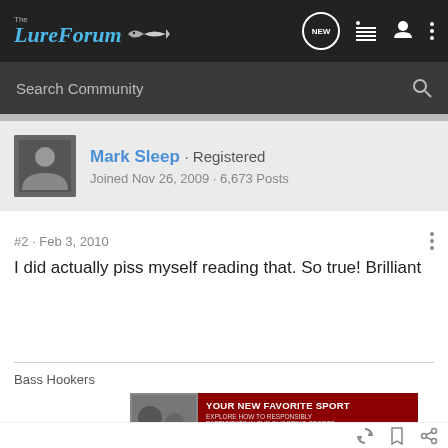The LureForum
Search Community
Mark Sleep · Registered
Joined Nov 26, 2009 · 6,673 Posts
#2 · Feb 3, 2010
I did actually piss myself reading that. So true! Brilliant
Bass Hookers
[Figure (screenshot): Advertisement banner: YOUR NEW FAVORITE SPORT - EXPLORE HOW TO RESPONSIBLY PARTICIPATE IN THE SHOOTING SPORTS. START HERE!]